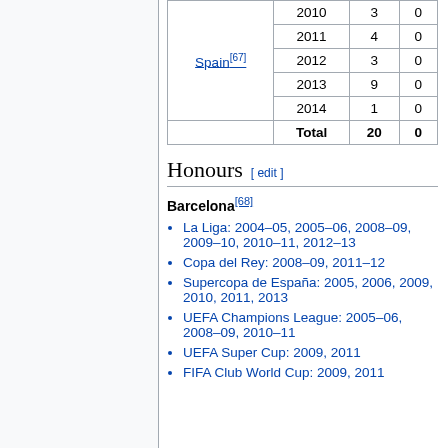|  | Year | Apps | Goals |
| --- | --- | --- | --- |
| Spain[67] | 2010 | 3 | 0 |
| Spain[67] | 2011 | 4 | 0 |
| Spain[67] | 2012 | 3 | 0 |
| Spain[67] | 2013 | 9 | 0 |
| Spain[67] | 2014 | 1 | 0 |
|  | Total | 20 | 0 |
Honours [ edit ]
Barcelona[68]
La Liga: 2004–05, 2005–06, 2008–09, 2009–10, 2010–11, 2012–13
Copa del Rey: 2008–09, 2011–12
Supercopa de España: 2005, 2006, 2009, 2010, 2011, 2013
UEFA Champions League: 2005–06, 2008–09, 2010–11
UEFA Super Cup: 2009, 2011
FIFA Club World Cup: 2009, 2011